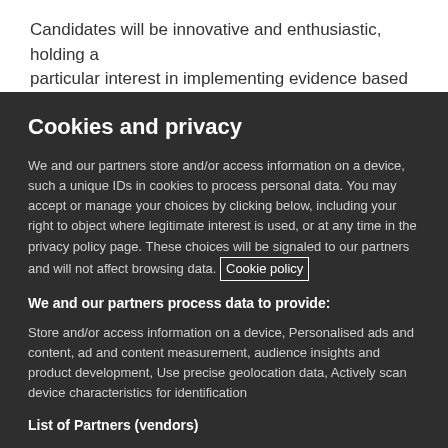Candidates will be innovative and enthusiastic, holding a particular interest in implementing evidence based
Cookies and privacy
We and our partners store and/or access information on a device, such a unique IDs in cookies to process personal data. You may accept or manage your choices by clicking below, including your right to object where legitimate interest is used, or at any time in the privacy policy page. These choices will be signaled to our partners and will not affect browsing data. Cookie policy
We and our partners process data to provide:
Store and/or access information on a device, Personalised ads and content, ad and content measurement, audience insights and product development, Use precise geolocation data, Actively scan device characteristics for identification
List of Partners (vendors)
I Accept